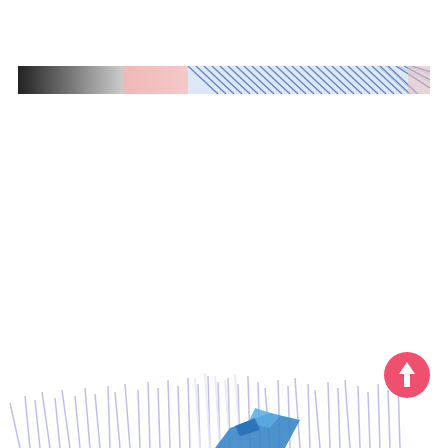[Figure (illustration): A horizontal strip showing a partial anime/manga illustration: dark gray/black on the left side fading into pink skin tones and blue diagonal speed lines with light blue hair strands on the right, consistent with a manga page panel transition.]
[Figure (illustration): Bottom portion of an anime/manga scene: light purple grass-like brush strokes or spiky lines radiating upward across the bottom, with blue geometric clothing/object shapes appearing in the lower center-right area.]
[Figure (illustration): A coral/pink circular FAB (floating action button) with a white upward arrow icon, positioned in the lower right area of the page.]